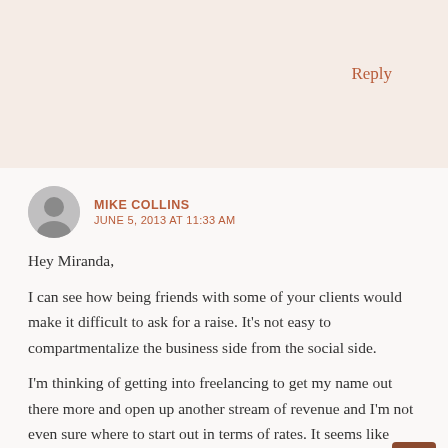Reply
MIKE COLLINS
JUNE 5, 2013 AT 11:33 AM
Hey Miranda,

I can see how being friends with some of your clients would make it difficult to ask for a raise. It's not easy to compartmentalize the business side from the social side.

I'm thinking of getting into freelancing to get my name out there more and open up another stream of revenue and I'm not even sure where to start out in terms of rates. It seems like going rates are all over the map. Do you charge based on article length? I know you write A LOT of articles!